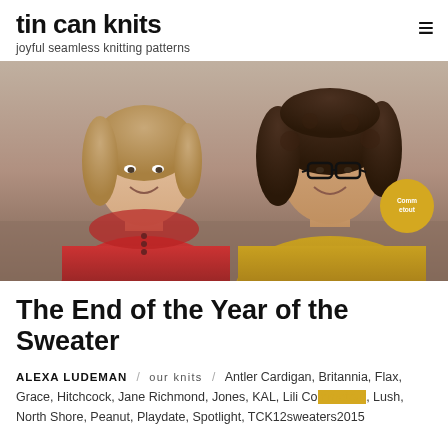tin can knits
joyful seamless knitting patterns
[Figure (photo): Two women smiling, one wearing a red cardigan sweater and one wearing a mustard/yellow pullover sweater, photographed outdoors against a sandy/gravelly background.]
The End of the Year of the Sweater
ALEXA LUDEMAN / our knits / Antler Cardigan, Britannia, Flax, Grace, Hitchcock, Jane Richmond, Jones, KAL, Lili Commentout, Lush, North Shore, Peanut, Playdate, Spotlight, TCK12sweaters2015